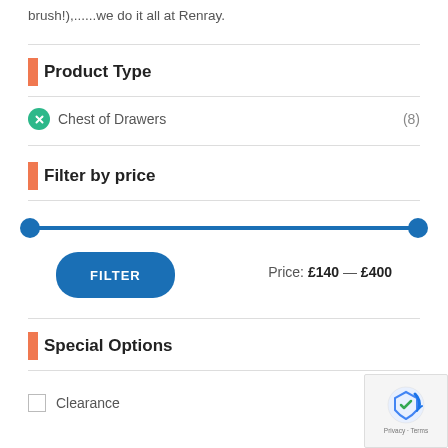brush!),......we do it all at Renray.
Product Type
Chest of Drawers (8)
Filter by price
[Figure (other): Price range slider from £140 to £400 with two blue circular handles on a blue track]
FILTER   Price: £140 — £400
Special Options
Clearance
[Figure (other): Google reCAPTCHA badge with Privacy and Terms links]